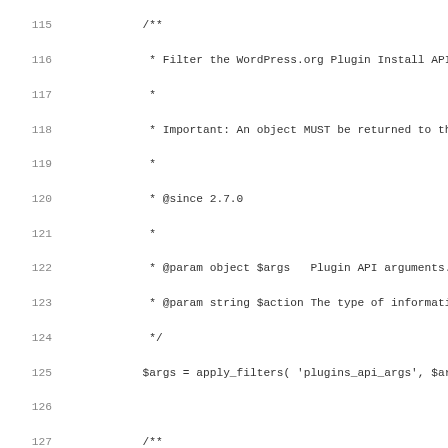[Figure (screenshot): Source code listing showing PHP code with line numbers 115–146, featuring PHPDoc comment blocks and WordPress plugin API code including apply_filters calls and conditional logic.]